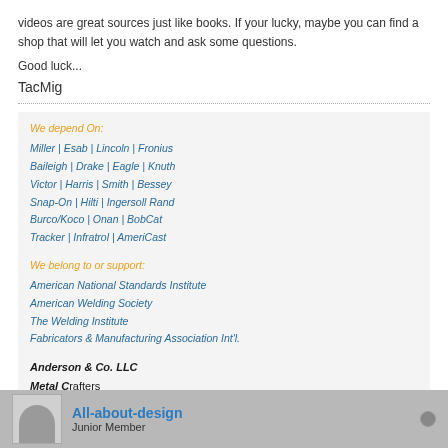videos are great sources just like books. If your lucky, maybe you can find a shop that will let you watch and ask some questions.
Good luck...
TacMig
We depend On:
Miller | Esab | Lincoln | Fronius
Baileigh | Drake | Eagle | Knuth
Victor | Harris | Smith | Bessey
Snap-On | Hilti | Ingersoll Rand
Burco/Koco | Onan | BobCat
Tracker | Infratrol | AmeriCast
We belong to or support:
American National Standards Institute
American Welding Society
The Welding Institute
Fabricators & Manufacturing Association Int'l.
Anderson & Co. LLC
Metal Crafters
All-about-design
Junior Member